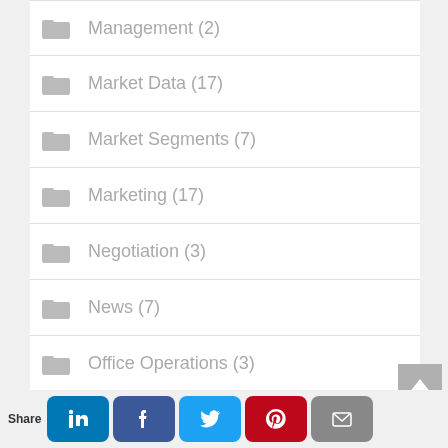Management (2)
Market Data (17)
Market Segments (7)
Marketing (17)
Negotiation (3)
News (7)
Office Operations (3)
Open Houses (6)
Politics (2)
Productivity (10)
Professional Image (5)